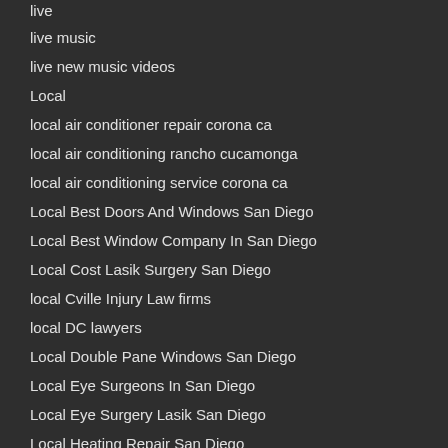live
live music
live new music videos
Local
local air conditioner repair corona ca
local air conditioning rancho cucamonga
local air conditioning service corona ca
Local Best Doors And Windows San Diego
Local Best Window Company In San Diego
Local Cost Lasik Surgery San Diego
local Cville Injury Law firms
local DC lawyers
Local Double Pane Windows San Diego
Local Eye Surgeons In San Diego
Local Eye Surgery Lasik San Diego
Local Heating Repair San Diego
Local Heating Service Sacramento